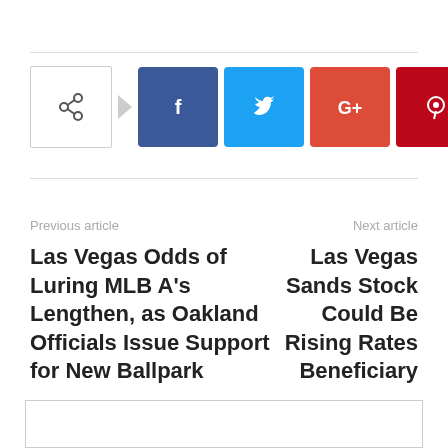[Figure (other): Social share bar with share icon button, Facebook, Twitter, Google+, Pinterest, and WhatsApp buttons]
Previous article
Next article
Las Vegas Odds of Luring MLB A's Lengthen, as Oakland Officials Issue Support for New Ballpark
Las Vegas Sands Stock Could Be Rising Rates Beneficiary
[Figure (other): Empty white box with border at bottom of page]